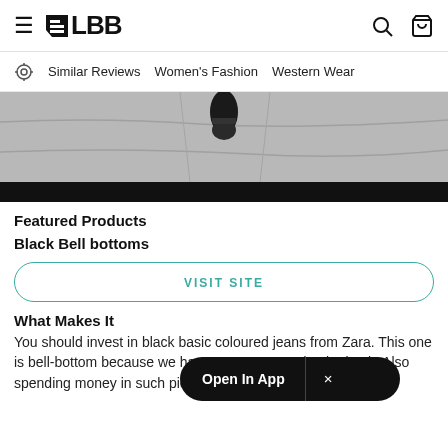≡ LBB [search icon] [bag icon]
Similar Reviews   Women's Fashion   Western Wear
[Figure (photo): Overhead view of a person's feet on a stone/marble floor, wearing black shoes. Black bar at bottom of image.]
Featured Products
Black Bell bottoms
VISIT SITE
What Makes It
You should invest in black basic coloured jeans from Zara. This one is bell-bottom because we have seen 90s trend to be back. Also spending money in such pieces
Open In App  ×